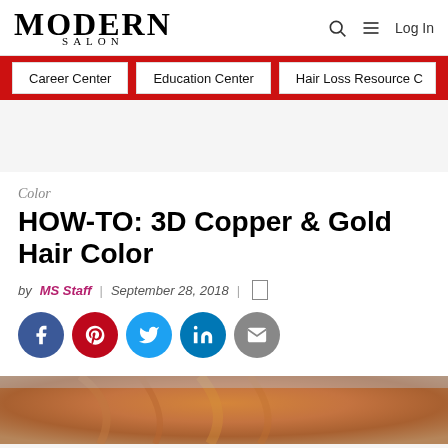MODERN SALON
Career Center | Education Center | Hair Loss Resource C
Color
HOW-TO: 3D Copper & Gold Hair Color
by MS Staff | September 28, 2018
[Figure (other): Social sharing icons: Facebook, Pinterest, Twitter, LinkedIn, Email]
[Figure (photo): Partial photo of a person with copper and gold colored hair]